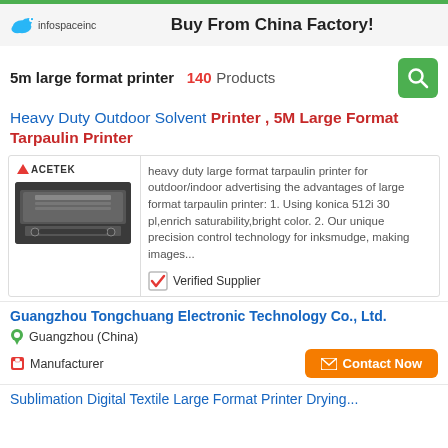infospaceinc — Buy From China Factory!
5m large format printer  140 Products
Heavy Duty Outdoor Solvent Printer , 5M Large Format Tarpaulin Printer
[Figure (photo): Acetek brand large format tarpaulin printer machine, dark grey color]
heavy duty large format tarpaulin printer for outdoor/indoor advertising the advantages of large format tarpaulin printer: 1. Using konica 512i 30 pl,enrich saturability,bright color. 2. Our unique precision control technology for inksmudge, making images...
✔ Verified Supplier
Guangzhou Tongchuang Electronic Technology Co., Ltd.
Guangzhou (China)
Manufacturer
Contact Now
Sublimation Digital Textile Large Format Printer Drying...